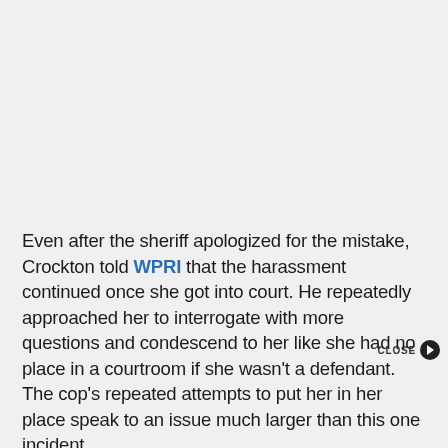Even after the sheriff apologized for the mistake, Crockton told WPRI that the harassment continued once she got into court. He repeatedly approached her to interrogate with more questions and condescend to her like she had no place in a courtroom if she wasn't a defendant. The cop's repeated attempts to put her in her place speak to an issue much larger than this one incident.